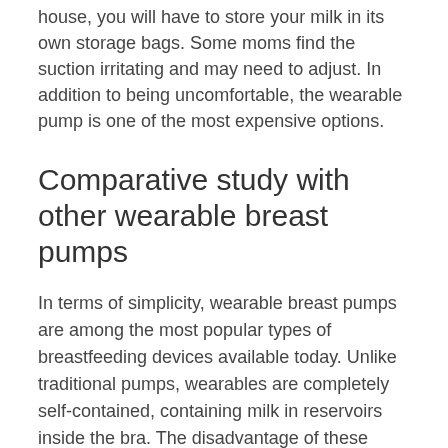house, you will have to store your milk in its own storage bags. Some moms find the suction irritating and may need to adjust. In addition to being uncomfortable, the wearable pump is one of the most expensive options.
Comparative study with other wearable breast pumps
In terms of simplicity, wearable breast pumps are among the most popular types of breastfeeding devices available today. Unlike traditional pumps, wearables are completely self-contained, containing milk in reservoirs inside the bra. The disadvantage of these pumps is that they tend to overfill and spill, so it's important to make a careful comparison before